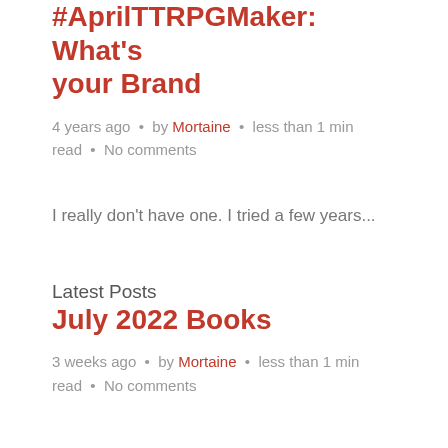#AprilTTRPGMaker: What's your Brand
4 years ago  •  by Mortaine  •  less than 1 min read  •  No comments
I really don't have one. I tried a few years...
Latest Posts
July 2022 Books
3 weeks ago  •  by Mortaine  •  less than 1 min read  •  No comments